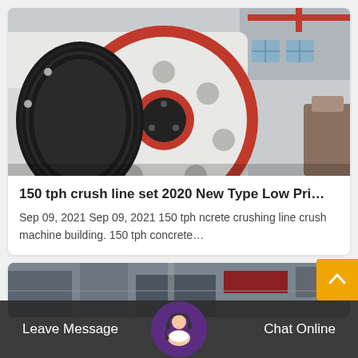[Figure (photo): Close-up photograph of a large industrial jaw crusher flywheel with a black belt pulley and red rim, set in a factory/warehouse environment.]
150 tph crush line set 2020 New Type Low Pri…
Sep 09, 2021 Sep 09, 2021 150 tph ncrete crushing line crush machine building. 150 tph concrete…
[Figure (photo): Partial view of an industrial facility or machine in the background, partially visible at bottom of page.]
Leave Message
Chat Online